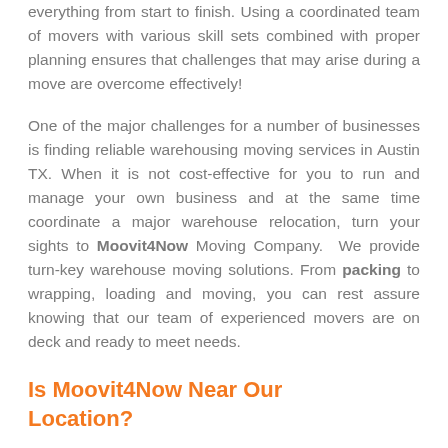everything from start to finish. Using a coordinated team of movers with various skill sets combined with proper planning ensures that challenges that may arise during a move are overcome effectively!
One of the major challenges for a number of businesses is finding reliable warehousing moving services in Austin TX. When it is not cost-effective for you to run and manage your own business and at the same time coordinate a major warehouse relocation, turn your sights to Moovit4Now Moving Company. We provide turn-key warehouse moving solutions. From packing to wrapping, loading and moving, you can rest assure knowing that our team of experienced movers are on deck and ready to meet needs.
Is Moovit4Now Near Our Location?